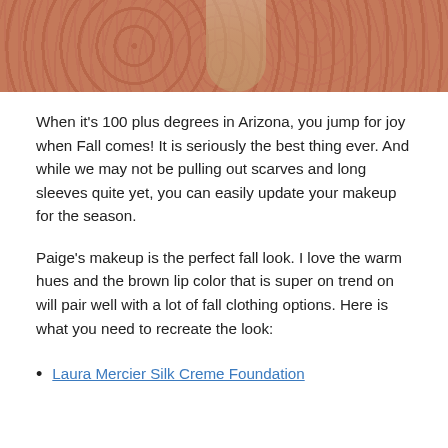[Figure (photo): Close-up photo of a woman wearing a rust/terracotta lace top, with blonde hair visible, against a light background.]
When it's 100 plus degrees in Arizona, you jump for joy when Fall comes! It is seriously the best thing ever. And while we may not be pulling out scarves and long sleeves quite yet, you can easily update your makeup for the season.
Paige's makeup is the perfect fall look. I love the warm hues and the brown lip color that is super on trend on will pair well with a lot of fall clothing options. Here is what you need to recreate the look:
Laura Mercier Silk Creme Foundation